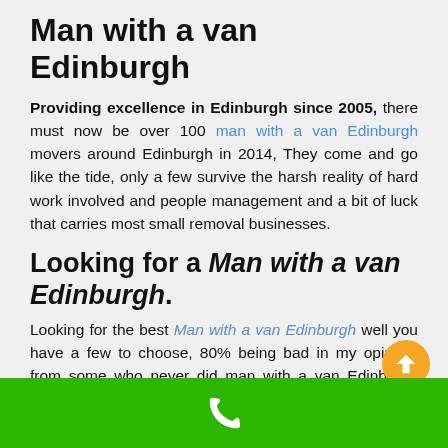Man with a van Edinburgh
Providing excellence in Edinburgh since 2005, there must now be over 100 man with a van Edinburgh movers around Edinburgh in 2014, They come and go like the tide, only a few survive the harsh reality of hard work involved and people management and a bit of luck that carries most small removal businesses.
Looking for a Man with a van Edinburgh.
Looking for the best Man with a van Edinburgh well you have a few to choose, 80% being bad in my opinion, from some who never did man with a van Edinburgh removal services before but where actually just that but for some reason it held some stigma but now blatantly copy others